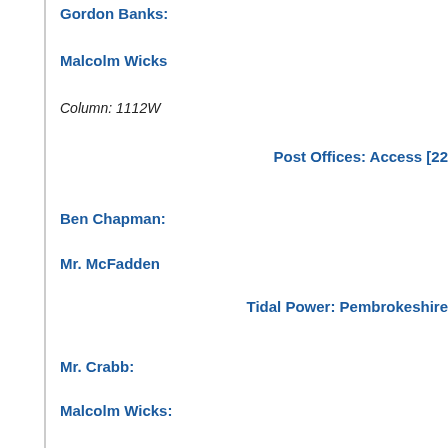Gordon Banks:
Malcolm Wicks
Column: 1112W
Post Offices: Access [22
Ben Chapman:
Mr. McFadden
Tidal Power: Pembrokeshire
Mr. Crabb:
Malcolm Wicks:
Column: 1113W
Wind Power [22 Nov
Mr. Moore:
Malcolm Wicks:
World War II: Medals [22
Mr. Beith: